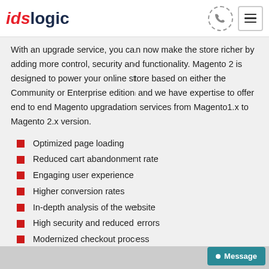idslogic
With an upgrade service, you can now make the store richer by adding more control, security and functionality. Magento 2 is designed to power your online store based on either the Community or Enterprise edition and we have expertise to offer end to end Magento upgradation services from Magento1.x to Magento 2.x version.
Optimized page loading
Reduced cart abandonment rate
Engaging user experience
Higher conversion rates
In-depth analysis of the website
High security and reduced errors
Modernized checkout process
Increased website loading speed
[Figure (photo): Partial photo of a person at the bottom of the page]